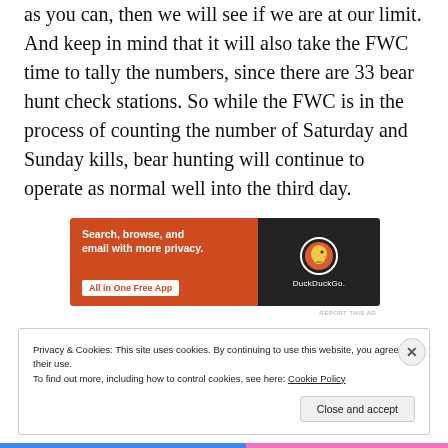as you can, then we will see if we are at our limit. And keep in mind that it will also take the FWC time to tally the numbers, since there are 33 bear hunt check stations. So while the FWC is in the process of counting the number of Saturday and Sunday kills, bear hunting will continue to operate as normal well into the third day.
[Figure (other): DuckDuckGo advertisement banner: orange left side with text 'Search, browse, and email with more privacy.' and button 'All in One Free App', dark right side with DuckDuckGo duck logo and brand name.]
REPORT THIS AD
Privacy & Cookies: This site uses cookies. By continuing to use this website, you agree to their use.
To find out more, including how to control cookies, see here: Cookie Policy
Close and accept